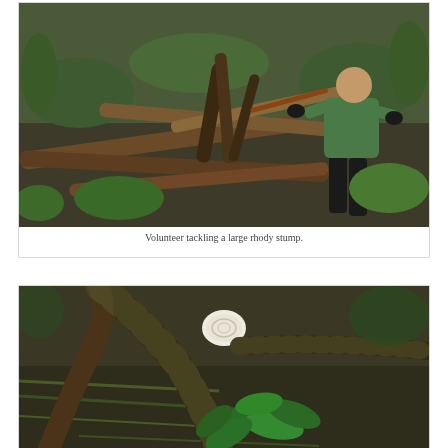[Figure (photo): A volunteer bending over and working with a hand tool on a large rhododendron stump in a woodland setting, surrounded by fallen branches and logs, with green undergrowth visible.]
Volunteer tackling a large rhody stump.
[Figure (photo): A close-up of a large rhododendron stump with branches cut, showing a white cut surface at the top, with green rhododendron regrowth and leaves visible at the base, on a mossy woodland floor.]